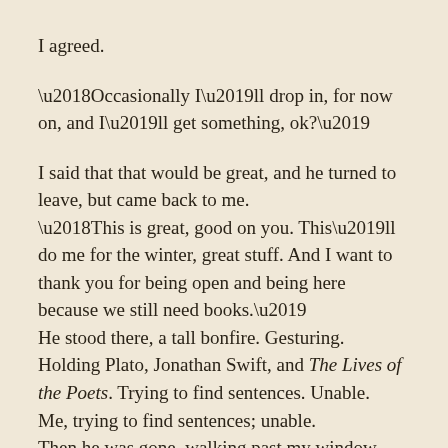I agreed.
‘Occasionally I’ll drop in, for now on, and I’ll get something, ok?’
I said that that would be great, and he turned to leave, but came back to me.
‘This is great, good on you. This’ll do me for the winter, great stuff. And I want to thank you for being open and being here because we still need books.’
He stood there, a tall bonfire. Gesturing. Holding Plato, Jonathan Swift, and The Lives of the Poets. Trying to find sentences. Unable.
Me, trying to find sentences; unable.
Then he was gone, walking past my window, strongly with his head down, swinging the books in front of him where they admired the winter and dismissed the cold.